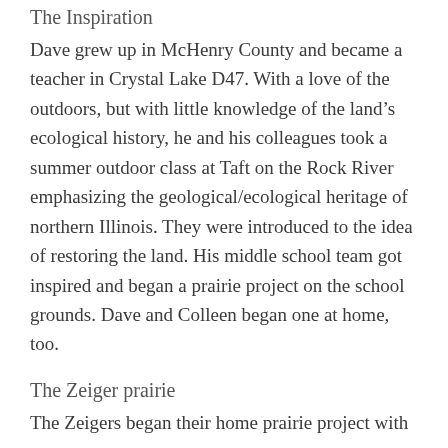The Inspiration
Dave grew up in McHenry County and became a teacher in Crystal Lake D47. With a love of the outdoors, but with little knowledge of the land’s ecological history, he and his colleagues took a summer outdoor class at Taft on the Rock River emphasizing the geological/ecological heritage of northern Illinois. They were introduced to the idea of restoring the land. His middle school team got inspired and began a prairie project on the school grounds. Dave and Colleen began one at home, too.
The Zeiger prairie
The Zeigers began their home prairie project with